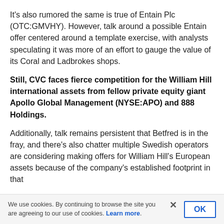It's also rumored the same is true of Entain Plc (OTC:GMVHY). However, talk around a possible Entain offer centered around a template exercise, with analysts speculating it was more of an effort to gauge the value of its Coral and Ladbrokes shops.
Still, CVC faces fierce competition for the William Hill international assets from fellow private equity giant Apollo Global Management (NYSE:APO) and 888 Holdings.
Additionally, talk remains persistent that Betfred is in the fray, and there's also chatter multiple Swedish operators are considering making offers for William Hill's European assets because of the company's established footprint in that
We use cookies. By continuing to browse the site you are agreeing to our use of cookies. Learn more.